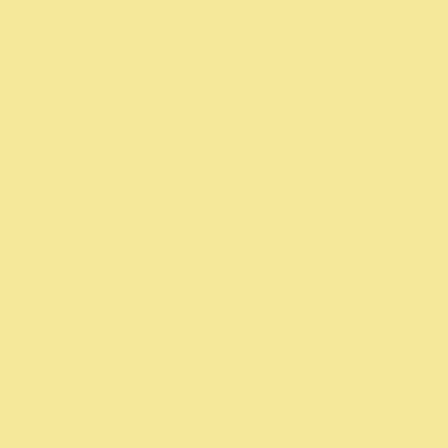I have since bought another camera, and its bigger brother can take pics o justice. But if I have to take side-by- to use the Ixus.
Sorry for the double post.
Posted by: Sarge | Friday, 22 March 2013 at 04:51 AM
I'm glad you're enjoying the NEX. S approach to the camera layout and n I have had more fun with my NEX 5 went digital. Here's a suggestion: fli your thumb on the shutter button. I'v has both improved the ergonomics a more discreet. Using a strap and hol allows slower shutter speeds as well shooting from a slightly lower positi appropriate), and it's very easy to be without changing your grip. Finally,